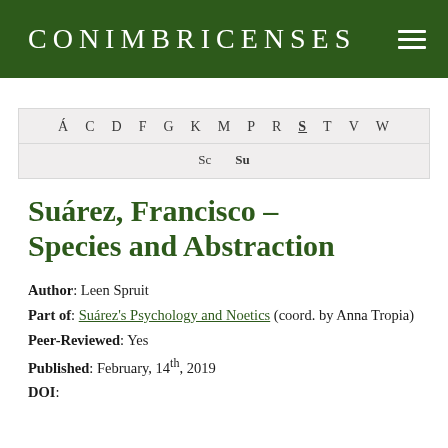CONIMBRICENSES
Á C D F G K M P R S T V W
Sc  Su
Suárez, Francisco – Species and Abstraction
Author: Leen Spruit
Part of: Suárez's Psychology and Noetics (coord. by Anna Tropia)
Peer-Reviewed: Yes
Published: February, 14th, 2019
DOI: ...